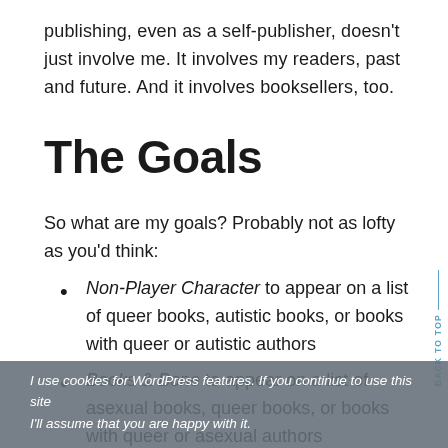publishing, even as a self-publisher, doesn't just involve me. It involves my readers, past and future. And it involves booksellers, too.
The Goals
So what are my goals? Probably not as lofty as you'd think:
Non-Player Character to appear on a list of queer books, autistic books, or books with queer or autistic authors
Books & Bone to appear on a list of asexual books, queer books, or books with queer or asexual authors
I use cookies for WordPress features. If you continue to use this site I'll assume that you are happy with it.